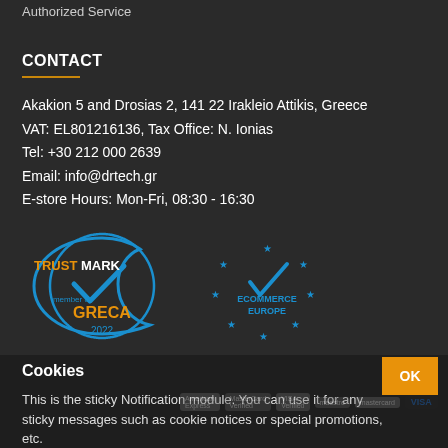Authorized Service
CONTACT
Akakion 5 and Drosias 2, 141 22 Irakleio Attikis, Greece
VAT: EL801216136, Tax Office: N. Ionias
Tel: +30 212 000 2639
Email: info@drtech.gr
E-store Hours: Mon-Fri, 08:30 - 16:30
[Figure (logo): TrustMark GRECA 2022 member badge with blue crescent and checkmark]
[Figure (logo): Ecommerce Europe trust badge with blue stars and checkmark]
Cookies
This is the sticky Notification module. You can use it for any sticky messages such as cookie notices or special promotions, etc.